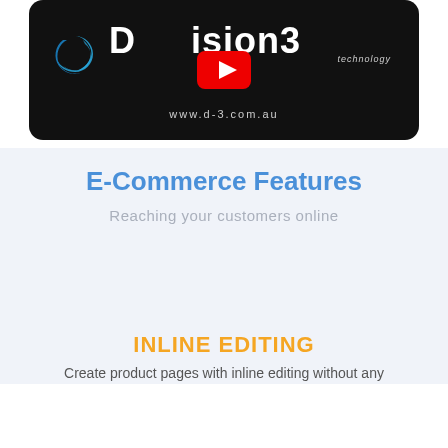[Figure (screenshot): Video thumbnail showing D3 technology logo with YouTube play button overlay and website URL www.d-3.com.au on dark background]
E-Commerce Features
Reaching your customers online
INLINE EDITING
Create product pages with inline editing without any